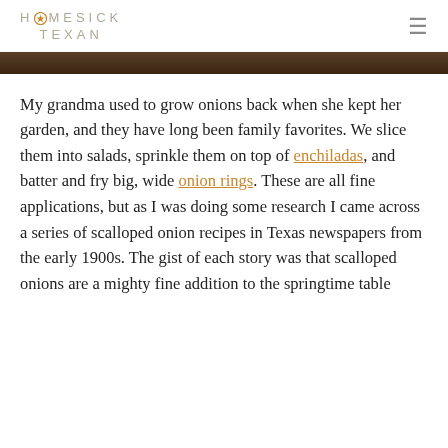HOMESICK TEXAN
[Figure (photo): Dark brown wooden surface image strip at top of content area]
My grandma used to grow onions back when she kept her garden, and they have long been family favorites. We slice them into salads, sprinkle them on top of enchiladas, and batter and fry big, wide onion rings. These are all fine applications, but as I was doing some research I came across a series of scalloped onion recipes in Texas newspapers from the early 1900s. The gist of each story was that scalloped onions are a mighty fine addition to the springtime table